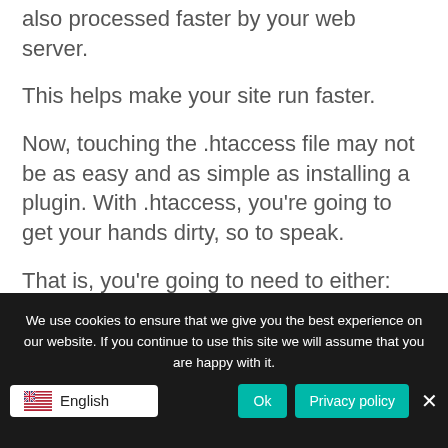also processed faster by your web server.
This helps make your site run faster.
Now, touching the .htaccess file may not be as easy and as simple as installing a plugin. With .htaccess, you’re going to get your hands dirty, so to speak.
That is, you’re going to need to either:
(1) create the .htaccess file from scratch if you don’t have it yet, or
(2) you’re going to edit the .htaccess file.
We use cookies to ensure that we give you the best experience on our website. If you continue to use this site we will assume that you are happy with it.